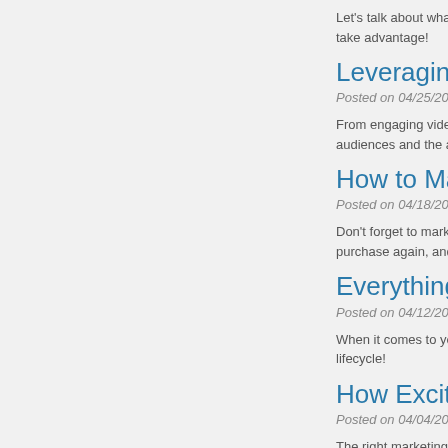Let's talk about what mob... take advantage!
Leveraging Con...
Posted on 04/25/2022
From engaging videos to... audiences and the audie...
How to Market t...
Posted on 04/18/2022
Don't forget to market to... purchase again, and with...
Everything You...
Posted on 04/12/2022
When it comes to your m... lifecycle!
How Exciting M...
Posted on 04/04/2022
The right marketing can r... is struggling to sell a less...